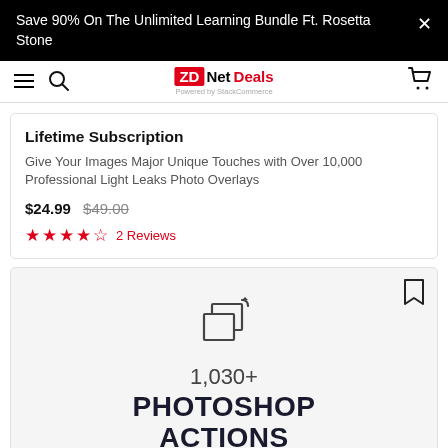Save 90% On The Unlimited Learning Bundle Ft. Rosetta Stone
[Figure (logo): ZDNet Deals logo with navigation bar including hamburger menu, search icon, and cart icon]
Lifetime Subscription
Give Your Images Major Unique Touches with Over 10,000 Professional Light Leaks Photo Overlays
$24.99 $49.00
★★★★½ 2 Reviews
[Figure (illustration): Photoshop actions swap/replace icon — two overlapping rectangles with rotation arrows]
1,030+
PHOTOSHOP ACTIONS